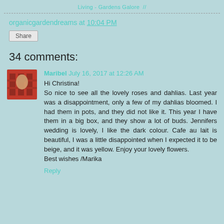Living - Gardens Galore  //
organicgardendreams at 10:04 PM
Share
34 comments:
[Figure (photo): Small avatar photo of a person in front of red shelving]
Maribel  July 16, 2017 at 12:26 AM
Hi Christina!
So nice to see all the lovely roses and dahlias. Last year was a disappointment, only a few of my dahlias bloomed. I had them in pots, and they did not like it. This year I have them in a big box, and they show a lot of buds. Jennifers wedding is lovely, I like the dark colour. Cafe au lait is beautiful, I was a little disappointed when I expected it to be beige, and it was yellow. Enjoy your lovely flowers.
Best wishes /Marika
Reply